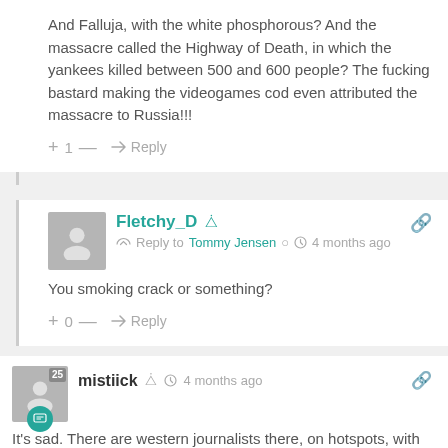And Falluja, with the white phosphorous? And the massacre called the Highway of Death, in which the yankees killed between 500 and 600 people? The fucking bastard making the videogames cod even attributed the massacre to Russia!!!
+ 1 — → Reply
Fletchy_D
Reply to Tommy Jensen · 4 months ago
You smoking crack or something?
+ 0 — → Reply
mistiick · 4 months ago
It's sad. There are western journalists there, on hotspots, with relevant stories. Not just in Mariupol, and not just Lancaster, there...